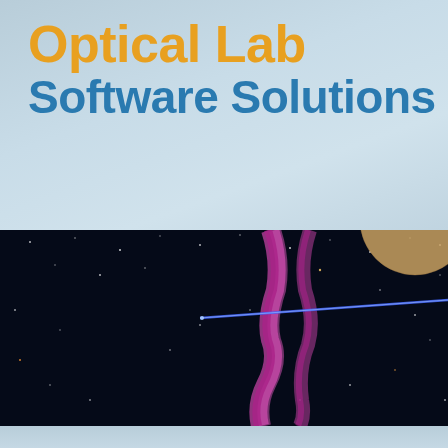Optical Lab Software Solutions
[Figure (illustration): Space scene background with dark sky, stars, a purple/magenta nebula or aurora-like formation, a blue laser beam crossing diagonally, and a partial view of a planet in the upper right corner.]
COMPANY   SERVICES   SOFTWARE SOLUTIONS